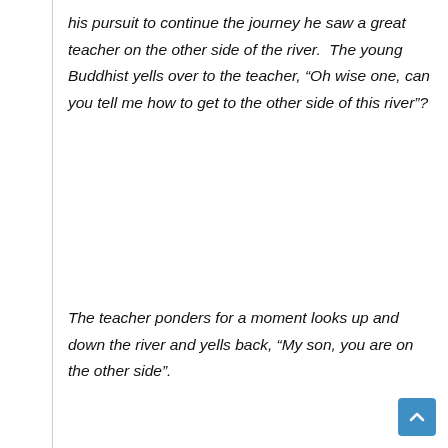his pursuit to continue the journey he saw a great teacher on the other side of the river.  The young Buddhist yells over to the teacher, “Oh wise one, can you tell me how to get to the other side of this river”?
The teacher ponders for a moment looks up and down the river and yells back, “My son, you are on the other side”.